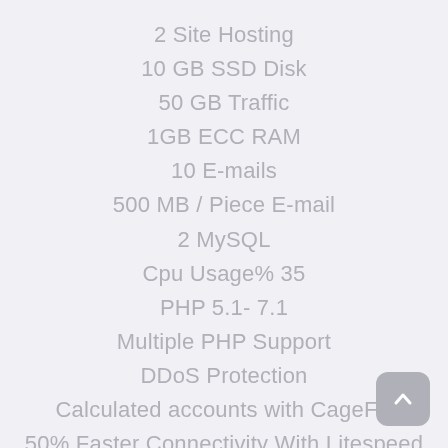2 Site Hosting
10 GB SSD Disk
50 GB Traffic
1GB ECC RAM
10 E-mails
500 MB / Piece E-mail
2 MySQL
Cpu Usage% 35
PHP 5.1- 7.1
Multiple PHP Support
DDoS Protection
Calculated accounts with CageFS
50% Faster Connectivity With Litespeed
Free SSL (Automatic SSL)